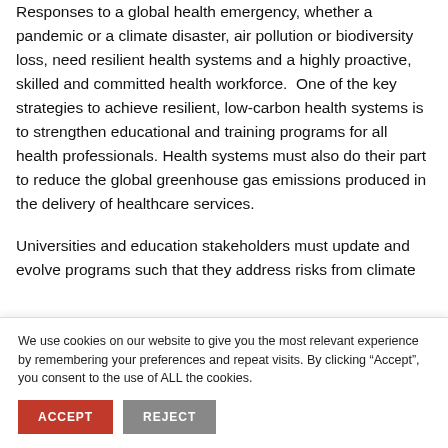Responses to a global health emergency, whether a pandemic or a climate disaster, air pollution or biodiversity loss, need resilient health systems and a highly proactive, skilled and committed health workforce.  One of the key strategies to achieve resilient, low-carbon health systems is to strengthen educational and training programs for all health professionals. Health systems must also do their part to reduce the global greenhouse gas emissions produced in the delivery of healthcare services.
Universities and education stakeholders must update and evolve programs such that they address risks from climate
We use cookies on our website to give you the most relevant experience by remembering your preferences and repeat visits. By clicking “Accept”, you consent to the use of ALL the cookies.